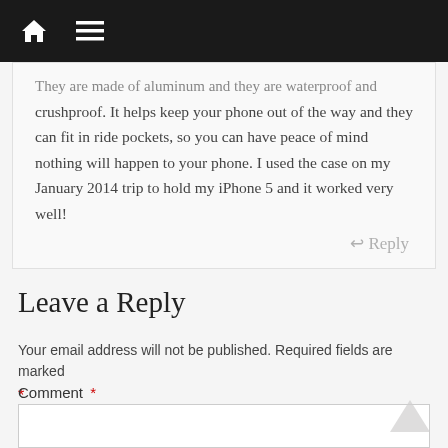Navigation bar with home icon and menu icon
They are made of aluminum and they are waterproof and crushproof. It helps keep your phone out of the way and they can fit in ride pockets, so you can have peace of mind nothing will happen to your phone. I used the case on my January 2014 trip to hold my iPhone 5 and it worked very well!
Reply
Leave a Reply
Your email address will not be published. Required fields are marked *
Comment *